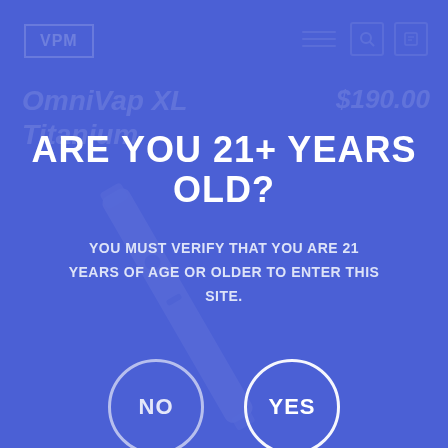VPM
OmniVap XL Titanium   $190.00
ARE YOU 21+ YEARS OLD?
YOU MUST VERIFY THAT YOU ARE 21 YEARS OF AGE OR OLDER TO ENTER THIS SITE.
[Figure (other): Two circular buttons: NO (left, faint outline) and YES (right, bright outline), age verification dialog buttons on blue background]